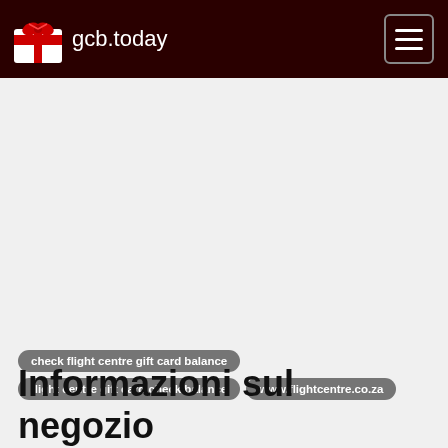gcb.today
check flight centre gift card balance
flight centre gift card check balance
www.flightcentre.co.za
Informazioni sul negozio